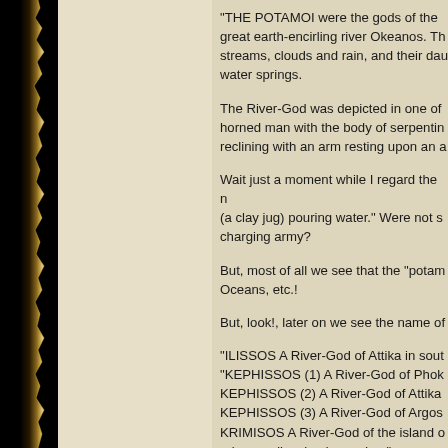"THE POTAMOI were the gods of the great earth-encirling river Okeanos. Th streams, clouds and rain, and their dau water springs.
The River-God was depicted in one of horned man with the body of serpentin reclining with an arm resting upon an a
Wait just a moment while I regard the n (a clay jug) pouring water." Were not s charging army?
But, most of all we see that the "potam Oceans, etc.!
But, look!, later on we see the name of
"ILISSOS A River-God of Attika in sout "KEPHISSOS (1) A River-God of Phok KEPHISSOS (2) A River-God of Attika KEPHISSOS (3) A River-God of Argos KRIMISOS A River-God of the island o princess disguised as a dog."
Just how did the Greeks keep all of the